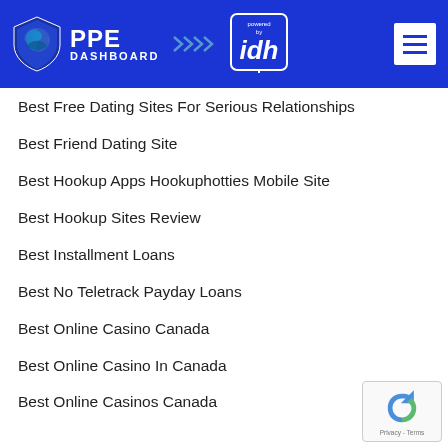PPE DASHBOARD powered by idh
Best Free Dating Sites For Serious Relationships
Best Friend Dating Site
Best Hookup Apps Hookuphotties Mobile Site
Best Hookup Sites Review
Best Installment Loans
Best No Teletrack Payday Loans
Best Online Casino Canada
Best Online Casino In Canada
Best Online Casinos Canada